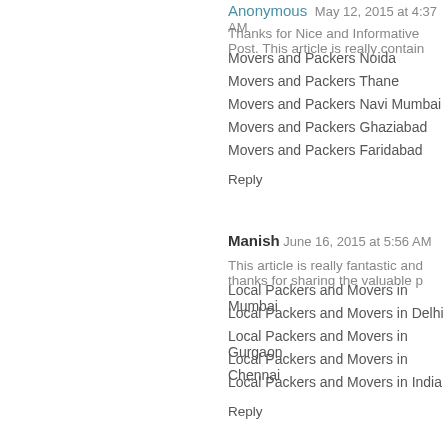Anonymous May 12, 2015 at 4:37 AM
Thanks for Nice and Informative Post. This article is really contain
Movers and Packers Noida
Movers and Packers Thane
Movers and Packers Navi Mumbai
Movers and Packers Ghaziabad
Movers and Packers Faridabad
Reply
Manish June 16, 2015 at 5:56 AM
This article is really fantastic and thanks for sharing the valuable p
Local Packers and Movers in Mumbai
Local Packers and Movers in Delhi
Local Packers and Movers in Gurgaon
Local Packers and Movers in Chennai
Local Packers and Movers in India
Reply
Manish June 16, 2015 at 5:56 AM
Thanks for sharing. I hope it will be helpful for too many people tha
Local Packers and Movers in Hyderabad
Local Packers and Movers in Bangalore